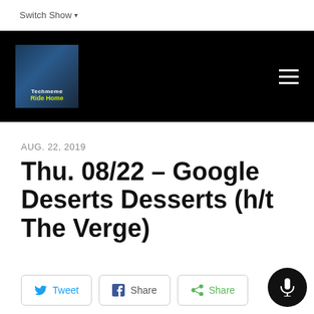Switch Show
[Figure (logo): Techmeme Ride Home podcast logo in black navigation header with hamburger menu]
AUG. 22, 2019
Thu. 08/22 – Google Deserts Desserts (h/t The Verge)
Tweet | Share | Share